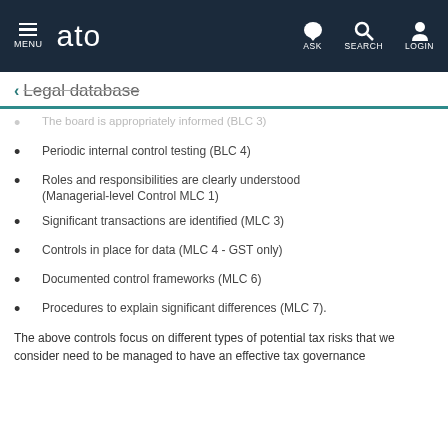ATO - MENU | ASK | SEARCH | LOGIN
← Legal database
The board is appropriately informed (BLC 3)
Periodic internal control testing (BLC 4)
Roles and responsibilities are clearly understood (Managerial-level Control MLC 1)
Significant transactions are identified (MLC 3)
Controls in place for data (MLC 4 - GST only)
Documented control frameworks (MLC 6)
Procedures to explain significant differences (MLC 7).
The above controls focus on different types of potential tax risks that we consider need to be managed to have an effective tax governance